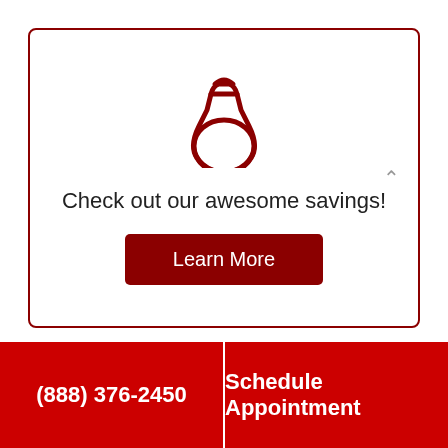[Figure (illustration): Money bag icon outline in dark red color]
Check out our awesome savings!
Learn More
Services
Air Conditioning
(888) 376-2450
Schedule Appointment